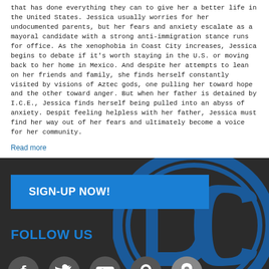that has done everything they can to give her a better life in the United States. Jessica usually worries for her undocumented parents, but her fears and anxiety escalate as a mayoral candidate with a strong anti-immigration stance runs for office. As the xenophobia in Coast City increases, Jessica begins to debate if it's worth staying in the U.S. or moving back to her home in Mexico. And despite her attempts to lean on her friends and family, she finds herself constantly visited by visions of Aztec gods, one pulling her toward hope and the other toward anger. But when her father is detained by I.C.E., Jessica finds herself being pulled into an abyss of anxiety. Despit feeling helpless with her father, Jessica must find her way out of her fears and ultimately become a voice for her community.
Read more
[Figure (other): Dark section with DC Comics logo watermark, blue SIGN-UP NOW! button, FOLLOW US heading in blue, and five social media icon circles (Facebook, Twitter, YouTube, Pinterest, location pin)]
All Site Content TM and © 2020 DC Entertainment, unless otherwise noted here. All rights reserved. Cookies Settings